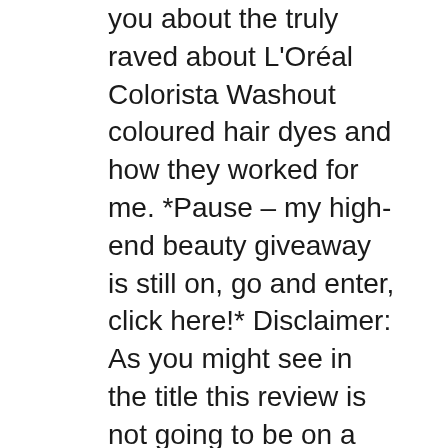you about the truly raved about L'Oréal Colorista Washout coloured hair dyes and how they worked for me. *Pause – my high-end beauty giveaway is still on, go and enter, click here!* Disclaimer: As you might see in the title this review is not going to be on a positive note Colorista laver de hotteste, midlertidige hårfarver til dig, der ikke kan bestemme dig for bare ét look. Udforsk hele udvalget og alle farver her.
01/03/2017 · L'ORÉAL COLORISTA REVIEW #PINKHAIR Washout COCO Chanou COCO Chanou. Loading... Unsubscribe from COCO Chanou? Cancel Unsubscribe. Working... Subscribe Subscribed Unsubscribe